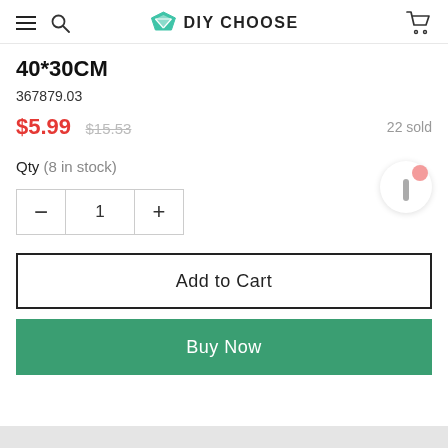DIY CHOOSE
40*30CM
367879.03
$5.99  $15.53  22 sold
Qty (8 in stock)
- 1 +
Add to Cart
Buy Now